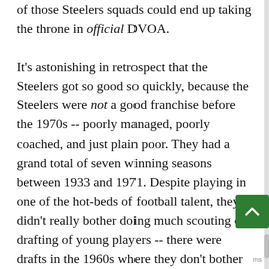of those Steelers squads could end up taking the throne in official DVOA.

It's astonishing in retrospect that the Steelers got so good so quickly, because the Steelers were not a good franchise before the 1970s -- poorly managed, poorly coached, and just plain poor. They had a grand total of seven winning seasons between 1933 and 1971. Despite playing in one of the hot-beds of football talent, they didn't really bother doing much scouting or drafting of young players -- there were drafts in the 1960s where they don't bother making a pick until round eight. When they did hit on young players, they didn't realize it -- they famously cut Johnny Unitas and traded away Len Dawson. It didn't help that they were near-broke too, often drafting players based not on their potential, but on the odds they could actually complete the signing at a budget price. If they hadn't agreed to move to the AFC after the two